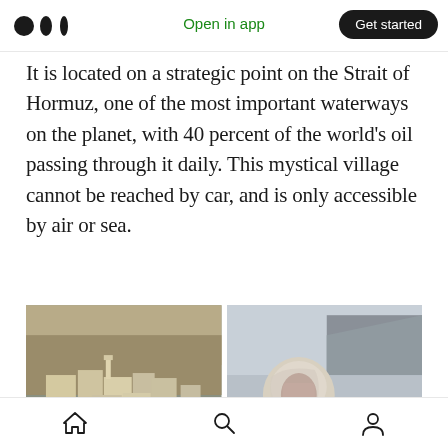Medium logo | Open in app | Get started
It is located on a strategic point on the Strait of Hormuz, one of the most important waterways on the planet, with 40 percent of the world's oil passing through it daily. This mystical village cannot be reached by car, and is only accessible by air or sea.
[Figure (photo): Two photos side by side: left shows an aerial view of a dense village built into rocky cliffs with white buildings; right shows a person with a white head covering standing near a shoreline with boats in the background]
A unique village between the sea and the mountain(
Home | Search | Profile navigation icons